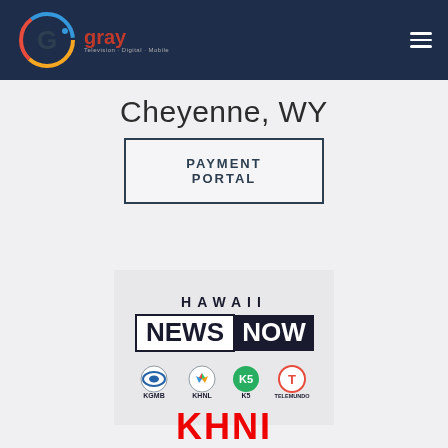Gray Television
Cheyenne, WY
PAYMENT PORTAL
[Figure (logo): Hawaii News Now logo with KGMB, KHNL, K5, and Telemundo Hawaii station logos]
KHNI